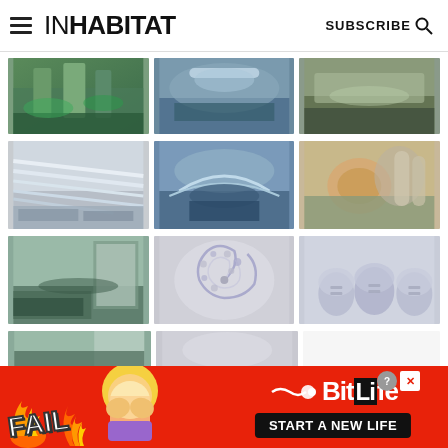INHABITAT | SUBSCRIBE
[Figure (photo): Grid of architectural renderings showing futuristic eco-buildings with green terraces, water features, and organic forms. Three rows of three images each, partially visible fourth row. Bottom advertisement banner for BitLife game.]
[Figure (advertisement): BitLife advertisement banner with red background, FAIL text, cartoon emoji, fire graphic, sperm icon, BitLife logo, and START A NEW LIFE button]